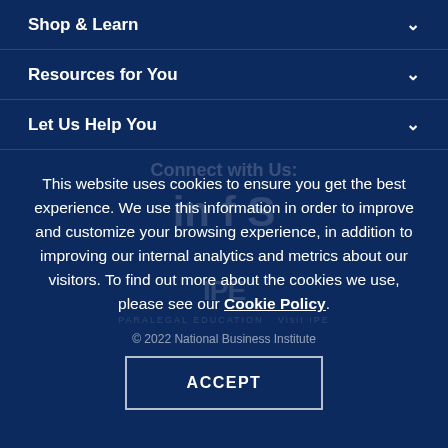Shop & Learn
Resources for You
Let Us Help You
This website uses cookies to ensure you get the best experience. We use this information in order to improve and customize your browsing experience, in addition to improving our internal analytics and metrics about our visitors. To find out more about the cookies we use, please see our Cookie Policy.
© 2022 National Business Institute
ACCEPT